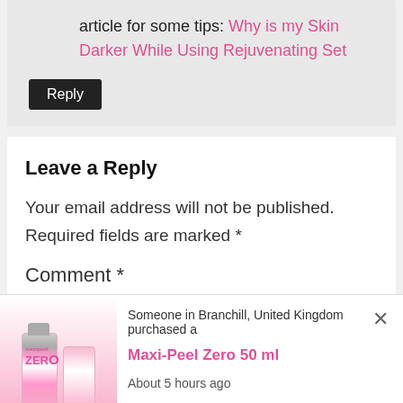article for some tips: Why is my Skin Darker While Using Rejuvenating Set
Leave a Reply
Your email address will not be published. Required fields are marked *
Comment *
Someone in Branchill, United Kingdom purchased a
Maxi-Peel Zero 50 ml
About 5 hours ago